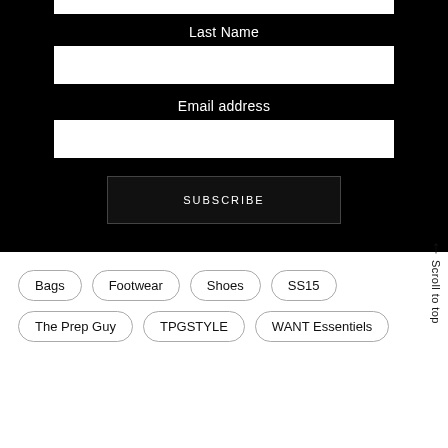Last Name
Email address
SUBSCRIBE
Bags
Footwear
Shoes
SS15
The Prep Guy
TPGSTYLE
WANT Essentiels
Scroll to top